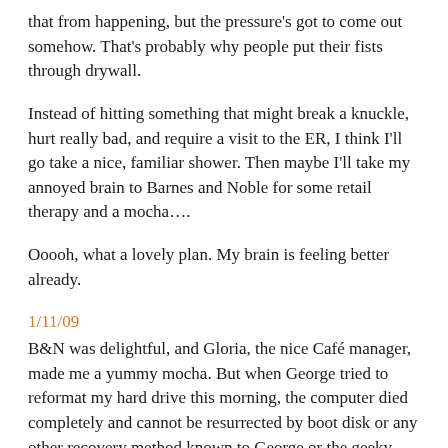that from happening, but the pressure's got to come out somehow. That's probably why people put their fists through drywall.
Instead of hitting something that might break a knuckle, hurt really bad, and require a visit to the ER, I think I'll go take a nice, familiar shower. Then maybe I'll take my annoyed brain to Barnes and Noble for some retail therapy and a mocha….
Ooooh, what a lovely plan. My brain is feeling better already.
1/11/09
B&N was delightful, and Gloria, the nice Café manager, made me a yummy mocha. But when George tried to reformat my hard drive this morning, the computer died completely and cannot be resurrected by boot disk or any other recovery method known to George or the geeky websites he visited from his computer for tips. He suspects that the hard drive itself went bad—it may have been going bad for a while now, and this just pushed it over the edge.
I'm very sad right now, but when I have a new computer up and running, I suspect my brain will get over my loss rather quickly.